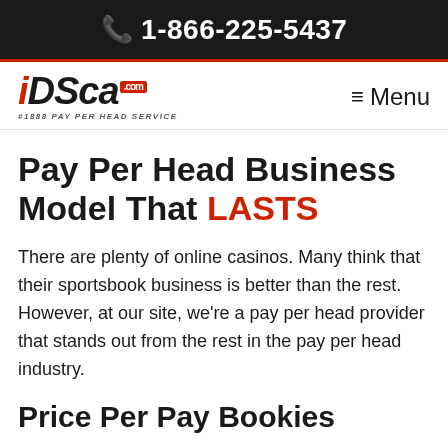1-866-225-5437
[Figure (logo): iDSca.com logo with tagline #1888 PAY PER HEAD SERVICE and hamburger Menu button]
Pay Per Head Business Model That LASTS
There are plenty of online casinos. Many think that their sportsbook business is better than the rest. However, at our site, we're a pay per head provider that stands out from the rest in the pay per head industry.
Price Per Pay Bookies